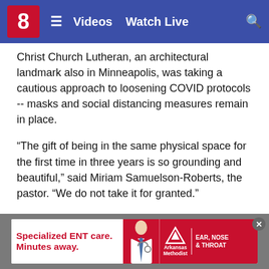8  ≡  Videos  Watch Live  🔍
Christ Church Lutheran, an architectural landmark also in Minneapolis, was taking a cautious approach to loosening COVID protocols -- masks and social distancing measures remain in place.
“The gift of being in the same physical space for the first time in three years is so grounding and beautiful,” said Miriam Samuelson-Roberts, the pastor. “We do not take it for granted.”
Hundreds of people lit candles in the vast Cathedral of St. Paul after Catholic Archbishop Bernard Hebda blessed the fire and lit the Paschal Candle to open the Easter Vigil service late Saturday.
[Figure (screenshot): Advertisement banner for Arkansas Methodist Ear, Nose & Throat: 'Specialized ENT care. Minutes away.' with photo of doctor and Arkansas Methodist logo with triangle graphic.]